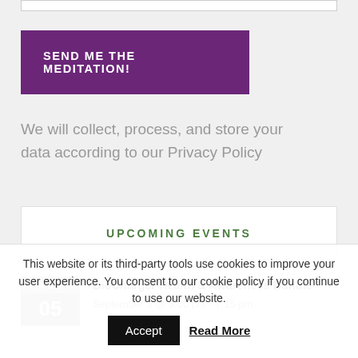[Figure (screenshot): Top border of an input field]
SEND ME THE MEDITATION!
We will collect, process, and store your data according to our Privacy Policy
UPCOMING EVENTS
BioCharger Health & Awareness Bundle
September 5 @ 5:00 pm - 7:15 pm
This website or its third-party tools use cookies to improve your user experience. You consent to our cookie policy if you continue to use our website.
Accept
Read More